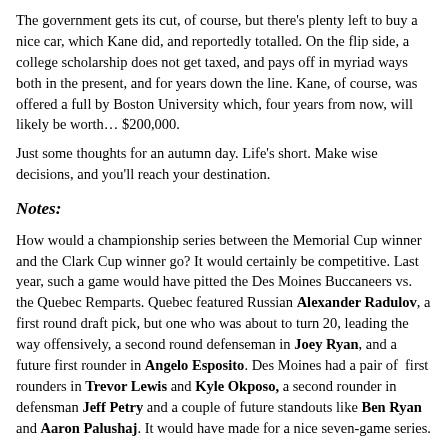The government gets its cut, of course, but there's plenty left to buy a nice car, which Kane did, and reportedly totalled. On the flip side, a college scholarship does not get taxed, and pays off in myriad ways both in the present, and for years down the line. Kane, of course, was offered a full by Boston University which, four years from now, will likely be worth… $200,000.
Just some thoughts for an autumn day. Life's short. Make wise decisions, and you'll reach your destination.
Notes:
How would a championship series between the Memorial Cup winner and the Clark Cup winner go? It would certainly be competitive. Last year, such a game would have pitted the Des Moines Buccaneers vs. the Quebec Remparts. Quebec featured Russian Alexander Radulov, a first round draft pick, but one who was about to turn 20, leading the way offensively, a second round defenseman in Joey Ryan, and a future first rounder in Angelo Esposito. Des Moines had a pair of first rounders in Trevor Lewis and Kyle Okposo, a second rounder in defensman Jeff Petry and a couple of future standouts like Ben Ryan and Aaron Palushaj. It would have made for a nice seven-game series.